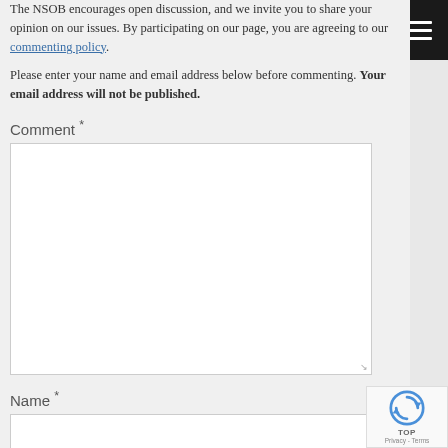The NSOB encourages open discussion, and we invite you to share your opinion on our issues. By participating on our page, you are agreeing to our commenting policy.
Please enter your name and email address below before commenting. Your email address will not be published.
Comment *
[Figure (other): Large empty comment textarea input box with resize handle in bottom right corner]
Name *
[Figure (other): Name text input field, empty]
[Figure (other): Hamburger menu button, dark background with three white horizontal lines]
[Figure (other): reCAPTCHA badge with spinning arrows icon, TOP label, and Privacy - Terms text]